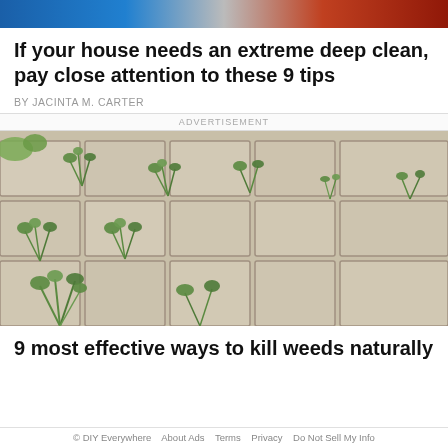If your house needs an extreme deep clean, pay close attention to these 9 tips
BY JACINTA M. CARTER
ADVERTISEMENT
[Figure (photo): A stone paver pathway with numerous weeds and grass plants growing up between the paving stones, photographed from above at an angle.]
9 most effective ways to kill weeds naturally
© DIY Everywhere   About Ads   Terms   Privacy   Do Not Sell My Info